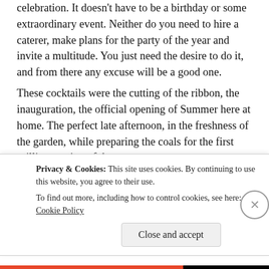celebration. It doesn't have to be a birthday or some extraordinary event. Neither do you need to hire a caterer, make plans for the party of the year and invite a multitude. You just need the desire to do it, and from there any excuse will be a good one.
These cocktails were the cutting of the ribbon, the inauguration, the official opening of Summer here at home. The perfect late afternoon, in the freshness of the garden, while preparing the coals for the first grilling session of the season.
They are sweet with a little bitterness from the gin and slightly aromatized with pepper mint. They are a refreshment
Privacy & Cookies: This site uses cookies. By continuing to use this website, you agree to their use.
To find out more, including how to control cookies, see here: Cookie Policy
Close and accept